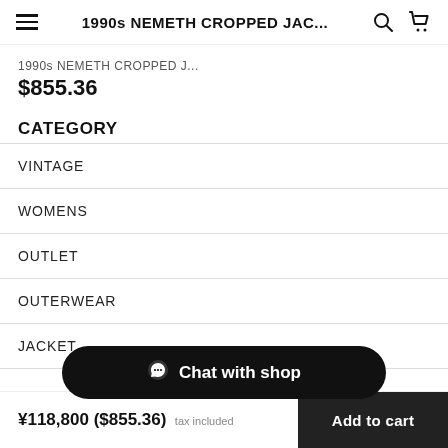1990s NEMETH CROPPED JAC...
1990s NEMETH CROPPED J...
$855.36
CATEGORY
VINTAGE
WOMENS
OUTLET
OUTERWEAR
JACKET
Chat with shop
¥118,800 ($855.36) tax included  Add to cart